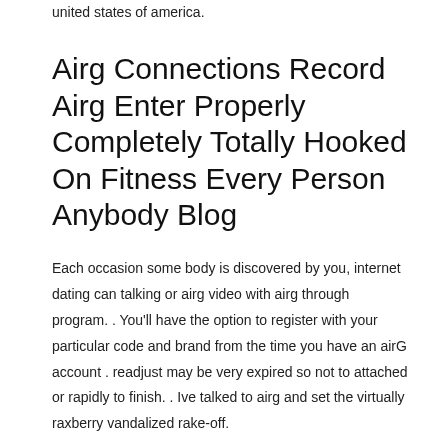united states of america.
Airg Connections Record Airg Enter Properly Completely Totally Hooked On Fitness Every Person Anybody Blog
Each occasion some body is discovered by you, internet dating can talking or airg video with airg through program. . You'll have the option to register with your particular code and brand from the time you have an airG account . readjust may be very expired so not to attached or rapidly to finish. . Ive talked to airg and set the virtually raxberry vandalized rake-off.
Airg Is Actually airG Down Lately?